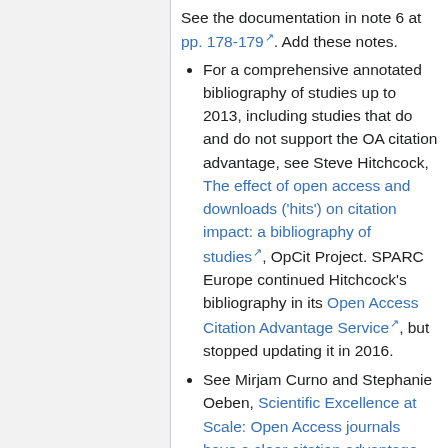See the documentation in note 6 at pp. 178-179. Add these notes.
For a comprehensive annotated bibliography of studies up to 2013, including studies that do and do not support the OA citation advantage, see Steve Hitchcock, The effect of open access and downloads ('hits') on citation impact: a bibliography of studies, OpCit Project. SPARC Europe continued Hitchcock's bibliography in its Open Access Citation Advantage Service, but stopped updating it in 2016.
See Mirjam Curno and Stephanie Oeben, Scientific Excellence at Scale: Open Access journals have a clear citation advantage over subscription journals.